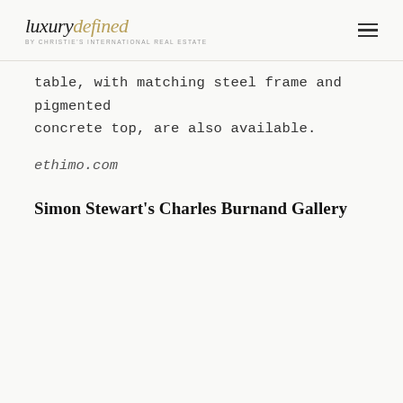luxurydefined BY CHRISTIE'S INTERNATIONAL REAL ESTATE
table, with matching steel frame and pigmented concrete top, are also available.
ethimo.com
Simon Stewart's Charles Burnand Gallery